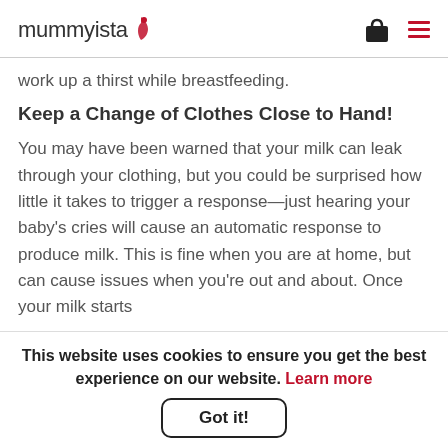mummyista
work up a thirst while breastfeeding.
Keep a Change of Clothes Close to Hand!
You may have been warned that your milk can leak through your clothing, but you could be surprised how little it takes to trigger a response—just hearing your baby's cries will cause an automatic response to produce milk. This is fine when you are at home, but can cause issues when you're out and about. Once your milk starts
This website uses cookies to ensure you get the best experience on our website. Learn more
Got it!